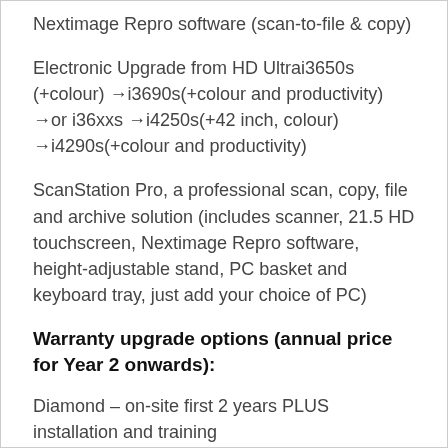Nextimage Repro software (scan-to-file & copy)
Electronic Upgrade from HD Ultrai3650s (+colour) →i3690s(+colour and productivity) →or i36xxs →i4250s(+42 inch, colour) →i4290s(+colour and productivity)
ScanStation Pro, a professional scan, copy, file and archive solution (includes scanner, 21.5 HD touchscreen, Nextimage Repro software, height-adjustable stand, PC basket and keyboard tray, just add your choice of PC)
Warranty upgrade options (annual price for Year 2 onwards):
Diamond – on-site first 2 years PLUS installation and training
Platinum – on-site first 2 years OR additional